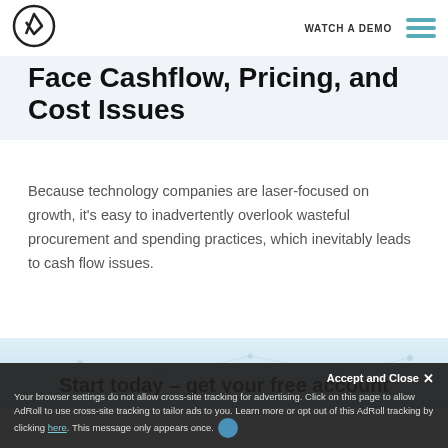WATCH A DEMO
Face Cashflow, Pricing, and Cost Issues
Because technology companies are laser-focused on growth, it's easy to inadvertently overlook wasteful procurement and spending practices, which inevitably leads to cash flow issues.
[Figure (illustration): Light blue network/technology illustration background]
Start today – get your free account
Accept and Close ×
Your browser settings do not allow cross-site tracking for advertising. Click on this page to allow AdRoll to use cross-site tracking to tailor ads to you. Learn more or opt out of this AdRoll tracking by clicking here. This message only appears once.